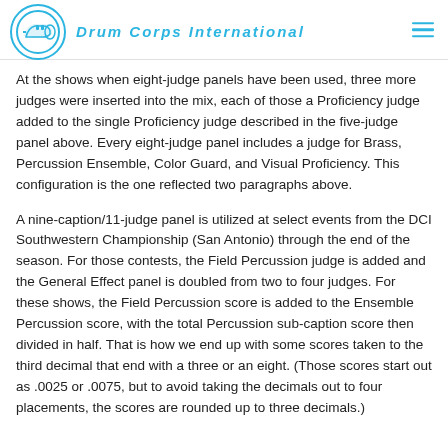Drum Corps International
At the shows when eight-judge panels have been used, three more judges were inserted into the mix, each of those a Proficiency judge added to the single Proficiency judge described in the five-judge panel above. Every eight-judge panel includes a judge for Brass, Percussion Ensemble, Color Guard, and Visual Proficiency. This configuration is the one reflected two paragraphs above.
A nine-caption/11-judge panel is utilized at select events from the DCI Southwestern Championship (San Antonio) through the end of the season. For those contests, the Field Percussion judge is added and the General Effect panel is doubled from two to four judges. For these shows, the Field Percussion score is added to the Ensemble Percussion score, with the total Percussion sub-caption score then divided in half. That is how we end up with some scores taken to the third decimal that end with a three or an eight. (Those scores start out as .0025 or .0075, but to avoid taking the decimals out to four placements, the scores are rounded up to three decimals.)